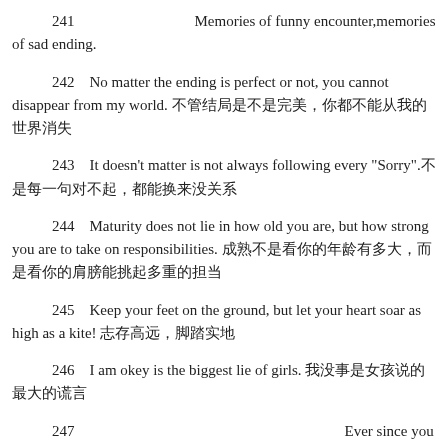241　　　　　　　　Memories of funny encounter,memories of sad ending.
242　No matter the ending is perfect or not, you cannot disappear from my world. 不管结局是不是完美，你都不能从我的世界消失
243　It doesn't matter is not always following every "Sorry".不是每一句对不起，都能换来没关系
244　Maturity does not lie in how old you are, but how strong you are to take on responsibilities. 成熟不是看你的年龄有多大，而是看你的肩膀能挑起多重的担当
245　Keep your feet on the ground, but let your heart soar as high as a kite! 志存高远，脚踏实地
246　I am okey is the biggest lie of girls. 我没事是女孩说的最大的谎言
247　　　　　　　　　　　　　　　　　　Ever since you left,I